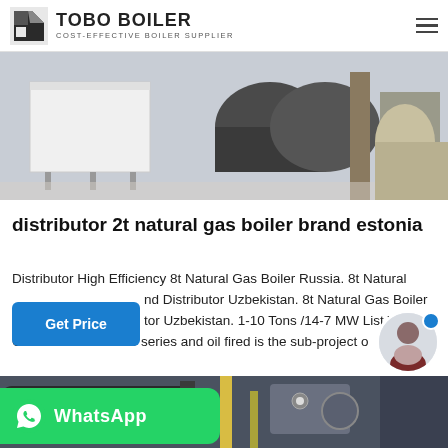TOBO BOILER — COST-EFFECTIVE BOILER SUPPLIER
[Figure (photo): Industrial boiler equipment in a factory/warehouse setting. A white rectangular unit is visible on the left, cylindrical boiler tanks and piping visible in the background.]
distributor 2t natural gas boiler brand estonia
Distributor High Efficiency 8t Natural Gas Boiler Russia. 8t Natural Gas Boiler Brand Distributor Uzbekistan. 8t Natural Gas Boiler Distributor Uzbekistan. 1-10 Tons /14-7 MW List WNS Oil & Fire Tube WNS series and oil fired is the sub-project o
[Figure (photo): Industrial boiler machinery and piping in a factory setting. Large cylindrical tanks, yellow pipes, black metal framing visible.]